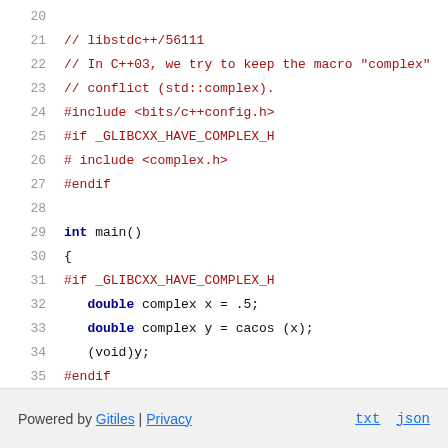[Figure (screenshot): Source code viewer showing C++ file lines 20-36 with syntax highlighting. Lines 21-23 are comments in red, lines 24-27 are preprocessor directives in red, line 29 shows 'int main()' with keyword highlighting, lines 30-36 show main function body with preprocessor directives and C code.]
Powered by Gitiles | Privacy    txt  json